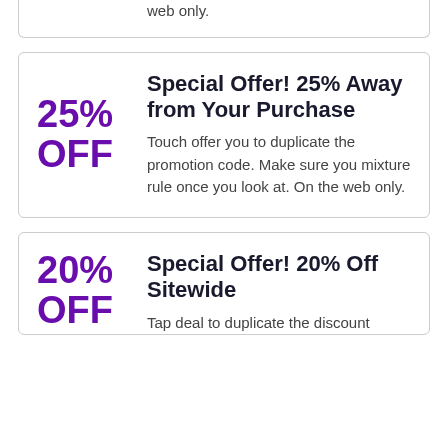web only.
25% OFF
Special Offer! 25% Away from Your Purchase
Touch offer you to duplicate the promotion code. Make sure you mixture rule once you look at. On the web only.
20% OFF
Special Offer! 20% Off Sitewide
Tap deal to duplicate the discount